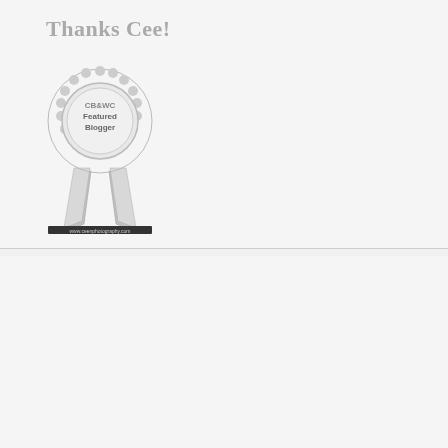Thanks Cee!
[Figure (illustration): Black and white award rosette badge with CB&WC Featured Blogger text and ribbon, with www.ceenphotography.com at the bottom]
[Figure (illustration): Purple and blue award rosette badge with CMMC Featured Blogger text and ribbon streamers]